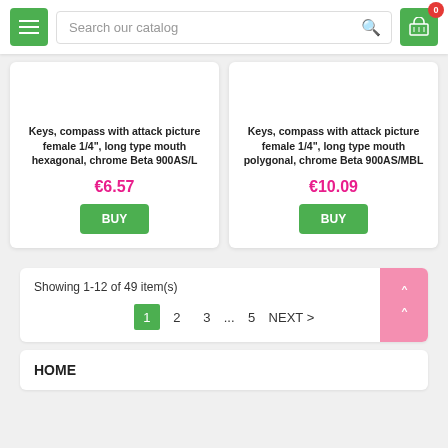[Figure (screenshot): E-commerce website header with menu button, search bar, and cart icon]
Keys, compass with attack picture female 1/4", long type mouth hexagonal, chrome Beta 900AS/L
€6.57
BUY
Keys, compass with attack picture female 1/4", long type mouth polygonal, chrome Beta 900AS/MBL
€10.09
BUY
Showing 1-12 of 49 item(s)
1 2 3 ... 5 NEXT >
HOME